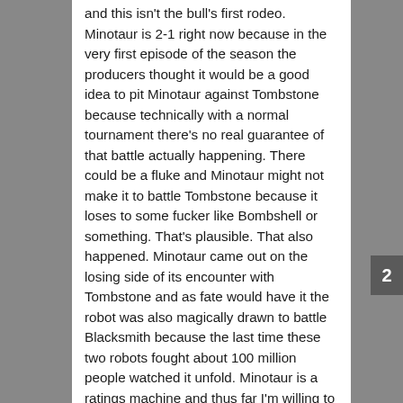and this isn't the bull's first rodeo. Minotaur is 2-1 right now because in the very first episode of the season the producers thought it would be a good idea to pit Minotaur against Tombstone because technically with a normal tournament there's no real guarantee of that battle actually happening. There could be a fluke and Minotaur might not make it to battle Tombstone because it loses to some fucker like Bombshell or something. That's plausible. That also happened. Minotaur came out on the losing side of its encounter with Tombstone and as fate would have it the robot was also magically drawn to battle Blacksmith because the last time these two robots fought about 100 million people watched it unfold. Minotaur is a ratings machine and thus far I'm willing to bet all of its matchups with the exception of Hypothermia were penned in as "definitely have to happen" purely because of the robot's history. This fucking match with SubZero is like only the second honest fight it's had and if SubZero wins this one then
2